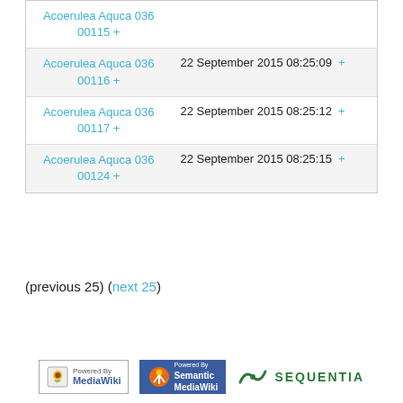| Item | Date |
| --- | --- |
| Acoerulea Aquca 036 00115 + |  |
| Acoerulea Aquca 036 00116 + | 22 September 2015 08:25:09 + |
| Acoerulea Aquca 036 00117 + | 22 September 2015 08:25:12 + |
| Acoerulea Aquca 036 00124 + | 22 September 2015 08:25:15 + |
(previous 25) (next 25)
[Figure (logo): Powered by MediaWiki logo badge]
[Figure (logo): Powered by Semantic MediaWiki logo badge]
[Figure (logo): Sequentia logo]